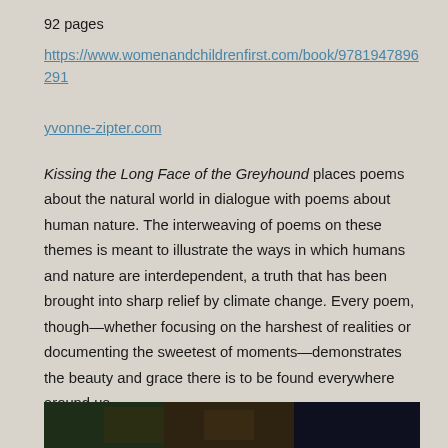92 pages
https://www.womenandchildrenfirst.com/book/9781947896291
yvonne-zipter.com
Kissing the Long Face of the Greyhound places poems about the natural world in dialogue with poems about human nature. The interweaving of poems on these themes is meant to illustrate the ways in which humans and nature are interdependent, a truth that has been brought into sharp relief by climate change. Every poem, though—whether focusing on the harshest of realities or documenting the sweetest of moments—demonstrates the beauty and grace there is to be found everywhere around us.
[Figure (photo): Dark photo strip at the bottom of the page showing dark blue/green tones, partially visible]